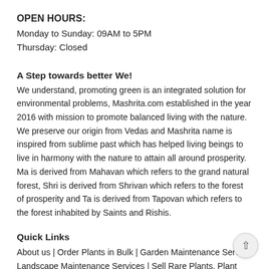OPEN HOURS:
Monday to Sunday: 09AM to 5PM
Thursday: Closed
A Step towards better We!
We understand, promoting green is an integrated solution for environmental problems, Mashrita.com established in the year 2016 with mission to promote balanced living with the nature. We preserve our origin from Vedas and Mashrita name is inspired from sublime past which has helped living beings to live in harmony with the nature to attain all around prosperity. Ma is derived from Mahavan which refers to the grand natural forest, Shri is derived from Shrivan which refers to the forest of prosperity and Ta is derived from Tapovan which refers to the forest inhabited by Saints and Rishis.
Quick Links
About us | Order Plants in Bulk | Garden Maintenance Service | Landscape Maintenance Services | Sell Rare Plants, Plant Rental Services | Plant Exhibition Service | Concept Garden | Carpet Grass